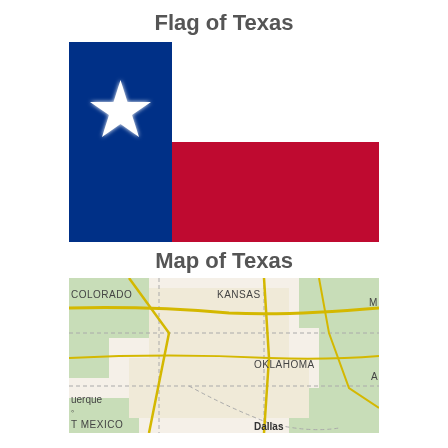Flag of Texas
[Figure (illustration): Flag of Texas: vertical blue stripe on the left with a white star in the center, white stripe on the upper right, red stripe on the lower right]
Map of Texas
[Figure (map): Map showing the south-central United States region including Texas and surrounding states: Colorado, Kansas, Oklahoma, New Mexico. Cities visible include Dallas and Albuquerque (partial). Roads shown in yellow on a beige/tan background with green terrain areas. State borders shown as dashed lines.]